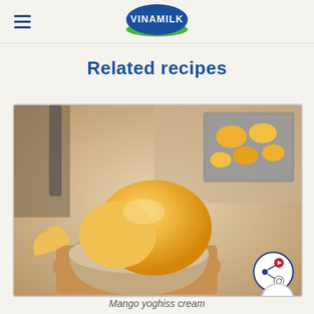VINAMILK (logo with hamburger menu)
Related recipes
[Figure (photo): Close-up photo of a scoop of mango ice cream in a ceramic bowl on a wooden surface, with mango pieces visible in a metal container in the background]
Mango yoghiss cream